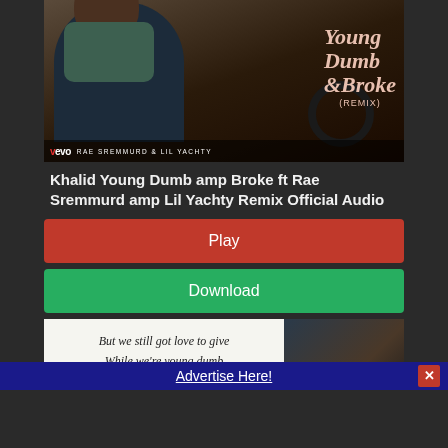[Figure (screenshot): Vevo music video thumbnail for Khalid Young Dumb & Broke (Remix) ft Rae Sremmurd & Lil Yachty. Shows Khalid sitting in a car with cursive album title text and Vevo logo with artist names across the bottom.]
Khalid Young Dumb amp Broke ft Rae Sremmurd amp Lil Yachty Remix Official Audio
Play
Download
[Figure (screenshot): Lyrics card image with text: 'But we still got love to give / While we're young dumb / Young, young dumb and broke' with Khalid portrait on right side]
Advertise Here!